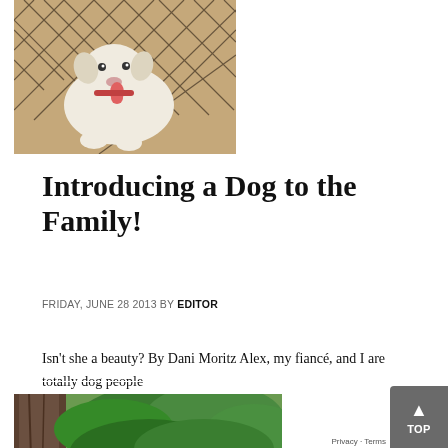[Figure (photo): A white dog with tongue out, sitting behind a chain-link fence on sandy/dirt ground, looking happy]
Introducing a Dog to the Family!
FRIDAY, JUNE 28 2013 BY EDITOR
Isn't she a beauty? By Dani Moritz Alex, my fiancé, and I are totally dog people...
[Figure (photo): Outdoor nature scene with large tree trunk in foreground and lush green trees/forest in background]
Privacy · Terms